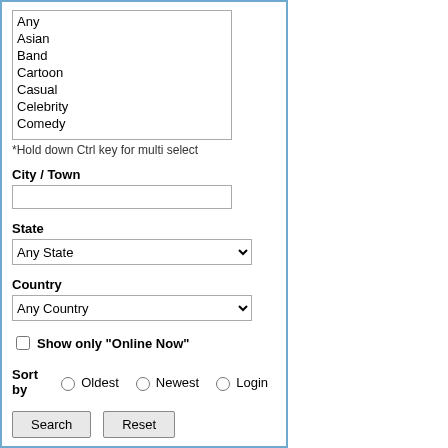Any
Asian
Band
Cartoon
Casual
Celebrity
Comedy
*Hold down Ctrl key for multi select
City / Town
State — Any State
Country — Any Country
Show only "Online Now"
Sort by   Oldest   Newest   Login
Search   Reset
Verses: Marv...
Lengths: Mul...
Aiden
Male, 30
Last Login: S...
ԻՐΠΠπ.
Male, 117
Last Login: S...
Characters: B...
Verses: Preda...
Playbys: Mr. ...
Lengths: Nov...
Champagne K...
Male, 35
California
United States